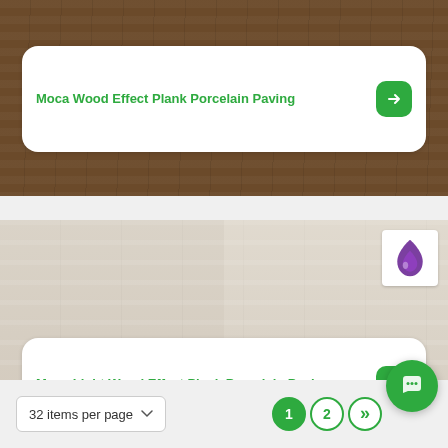[Figure (photo): Dark brown wood effect porcelain paving tile product image with card overlay]
Moca Wood Effect Plank Porcelain Paving
[Figure (photo): Light grey/beige wood effect plank porcelain paving tile product image with logo badge and card overlay]
[Figure (logo): Purple flame/drop logo badge in white square]
Moca Light Wood Effect Plank Porcelain Paving
32 items per page
1 2 »